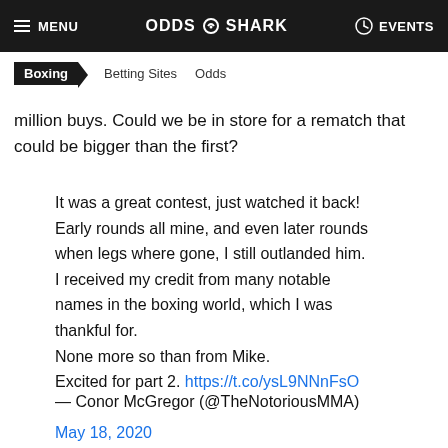MENU | ODDS SHARK | EVENTS
Boxing  Betting Sites  Odds
million buys. Could we be in store for a rematch that could be bigger than the first?
It was a great contest, just watched it back! Early rounds all mine, and even later rounds when legs where gone, I still outlanded him. I received my credit from many notable names in the boxing world, which I was thankful for.
None more so than from Mike.
Excited for part 2. https://t.co/ysL9NNnFsO
— Conor McGregor (@TheNotoriousMMA)
May 18, 2020